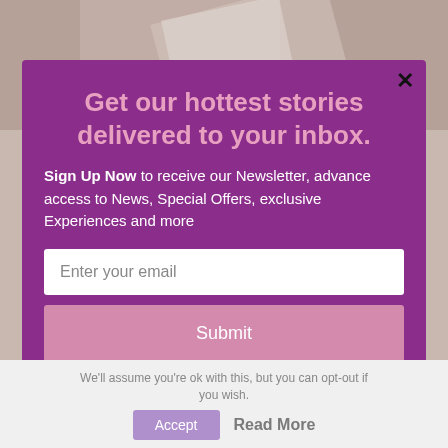[Figure (photo): Background photo of a wooden surface with papers, partially visible]
Get our hottest stories delivered to your inbox.
Sign Up Now to receive our Newsletter, advance access to News, Special Offers, exclusive Experiences and more
Enter your email
Submit
powered by MailMunch
We'll assume you're ok with this, but you can opt-out if you wish.
Accept
Read More